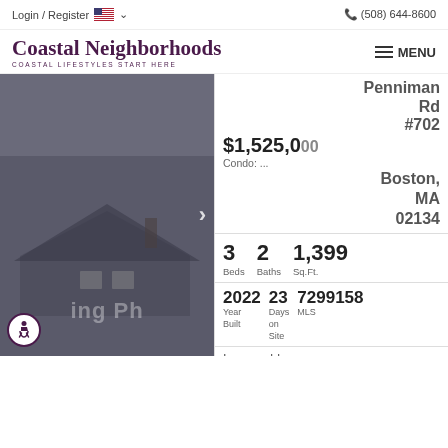Login / Register  (508) 644-8600
Coastal Neighborhoods
COASTAL LIFESTYLES START HERE
MENU
[Figure (photo): Grayscale/dark photo of a house with a navigation arrow overlay and accessibility icon]
Penniman Rd #702 Boston, MA 02134
$1,525,000
Condo: ...
3 Beds  2 Baths  1,399 Sq.Ft.
2022  23 Days on Site  7299158 MLS
Year Built  Days on Site  MLS
Impeccably